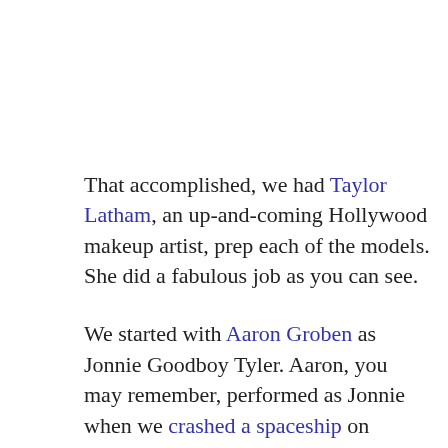That accomplished, we had Taylor Latham, an up-and-coming Hollywood makeup artist, prep each of the models. She did a fabulous job as you can see.
We started with Aaron Groben as Jonnie Goodboy Tyler. Aaron, you may remember, performed as Jonnie when we crashed a spaceship on Hollywood Blvd last summer to announce the release of the trade paperback edition of Battle field Earth. Needless to say, that